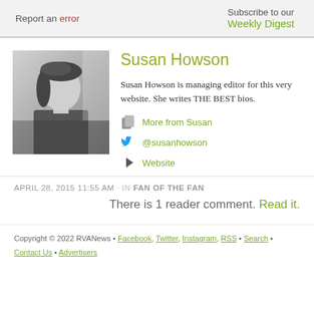Report an error
Subscribe to our Weekly Digest
Susan Howson
[Figure (photo): Black and white photo of Susan Howson]
Susan Howson is managing editor for this very website. She writes THE BEST bios.
More from Susan
@susanhowson
Website
APRIL 28, 2015 11:55 AM · IN FAN OF THE FAN
There is 1 reader comment. Read it.
Copyright © 2022 RVANews • Facebook, Twitter, Instagram, RSS • Search • Contact Us • Advertisers